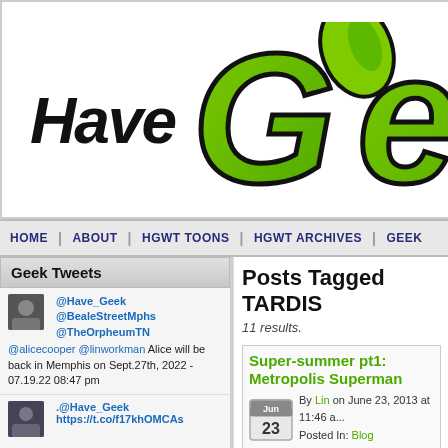[Figure (logo): Have Geek logo with bold black 'Have' text and green stylized 'Geek' text with leaf motif]
HOME  ABOUT  HGWT TOONS  HGWT ARCHIVES  GEEK...
Geek Tweets
@Have_Geek @BealeStreetMphs @TheOrpheumTN @alicecooper @linworkman Alice will be back in Memphis on Sept.27th, 2022 - 07.19.22 08:47 pm
.@Have_Geek https://t.co/f17khOMCAs
Posts Tagged TARDIS
11 results.
Super-summer pt1: Metropolis Superman
By Lin on June 23, 2013 at 11:46 a... Posted In: Blog
This summer has been a JS/super one...